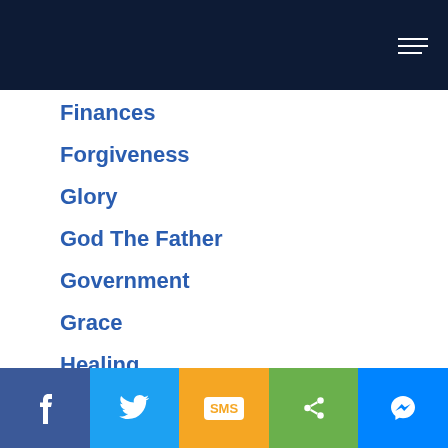Finances
Forgiveness
Glory
God The Father
Government
Grace
Healing
Hearing God
Heaven
Holiness
Holy Spirit
Facebook | Twitter | SMS | Share | Messenger